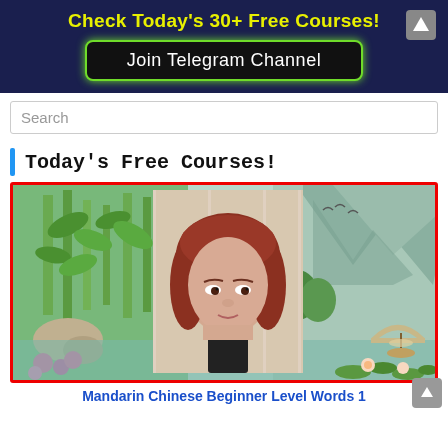Check Today's 30+ Free Courses!
Join Telegram Channel
Search
Today's Free Courses!
[Figure (photo): Course thumbnail image: woman with reddish-brown bob haircut centered over a scenic Chinese landscape background with bamboo, mountains, lake, swans, bridge, lotus flowers, and flying birds. Red border around image.]
Mandarin Chinese Beginner Level Words 1